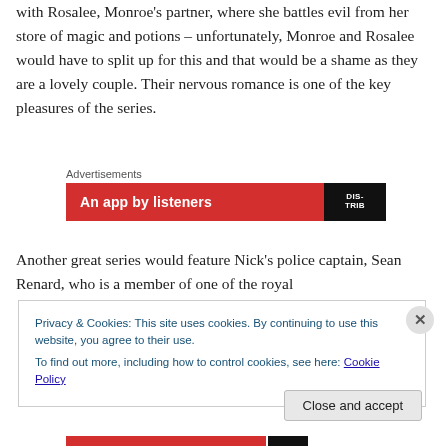with Rosalee, Monroe's partner, where she battles evil from her store of magic and potions – unfortunately, Monroe and Rosalee would have to split up for this and that would be a shame as they are a lovely couple. Their nervous romance is one of the key pleasures of the series.
[Figure (screenshot): Advertisement banner with red background, text 'An app by listeners' in white, and a dark logo block on the right reading 'DIS-TRIB']
Another great series would feature Nick's police captain, Sean Renard, who is a member of one of the royal
Privacy & Cookies: This site uses cookies. By continuing to use this website, you agree to their use.
To find out more, including how to control cookies, see here: Cookie Policy
Close and accept